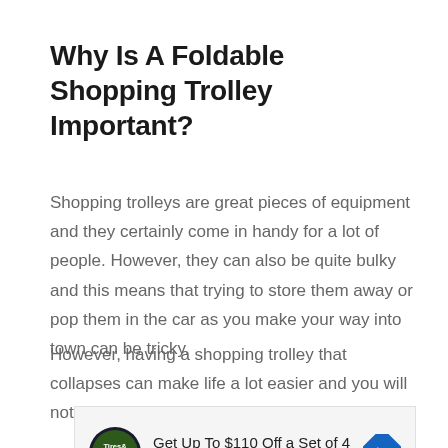Why Is A Foldable Shopping Trolley Important?
Shopping trolleys are great pieces of equipment and they certainly come in handy for a lot of people. However, they can also be quite bulky and this means that trying to store them away or pop them in the car as you make your way into town can be tricky.
However, having a shopping trolley that collapses can make life a lot easier and you will not longer
[Figure (infographic): Advertisement banner: Get Up To $110 Off a Set of 4 Select Firestone Tires, with Tire & Auto logo and navigation arrow icon]